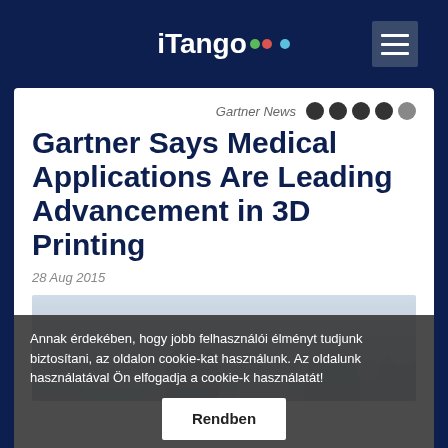iTango
Gartner News
Gartner Says Medical Applications Are Leading Advancement in 3D Printing
28 Aug 2015
[Figure (photo): Group of medical professionals in white coats, blurred background]
Annak érdekében, hogy jobb felhasználói élményt tudjunk biztosítani, az oldalon cookie-kat használunk. Az oldalunk használatával Ön elfogadja a cookie-k használatát! Rendben